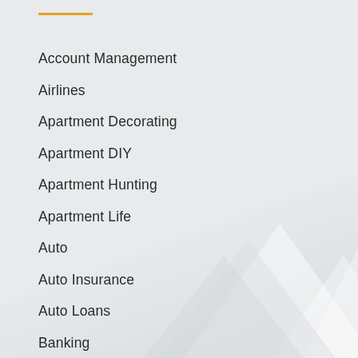Account Management
Airlines
Apartment Decorating
Apartment DIY
Apartment Hunting
Apartment Life
Auto
Auto Insurance
Auto Loans
Banking
Biohazard Cleanup Tips